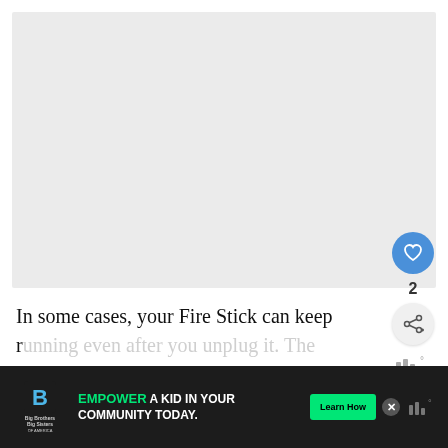[Figure (screenshot): Large light gray content area occupying upper portion of page, representing a web article's image or video area]
[Figure (infographic): Blue circular heart/like button with white heart icon, like count of 2, gray circular share button with share icon, and weather widget showing bar graph icon with degree symbol]
In some cases, your Fire Stick can keep running even after you unplug it. The
[Figure (screenshot): Advertisement banner: Big Brothers Big Sisters of America logo on dark background, text 'EMPOWER A KID IN YOUR COMMUNITY TODAY.' with green Learn How button, close X button, and weather widget]